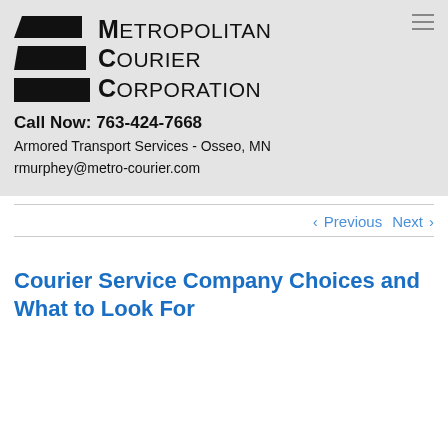[Figure (logo): Metropolitan Courier Corporation logo with black parallelogram stripes and company name text]
Call Now: 763-424-7668
Armored Transport Services - Osseo, MN
rmurphey@metro-courier.com
< Previous   Next >
Courier Service Company Choices and What to Look For